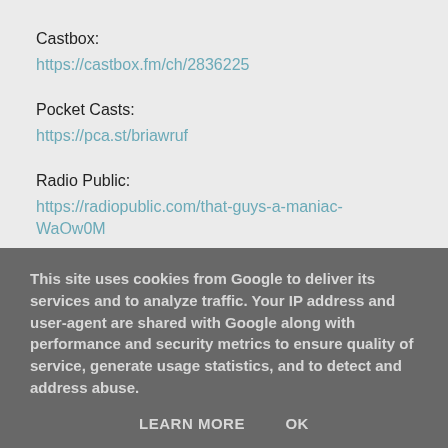Castbox:
https://castbox.fm/ch/2836225
Pocket Casts:
https://pca.st/briawruf
Radio Public:
https://radiopublic.com/that-guys-a-maniac-WaOw0M
Spotify:
This site uses cookies from Google to deliver its services and to analyze traffic. Your IP address and user-agent are shared with Google along with performance and security metrics to ensure quality of service, generate usage statistics, and to detect and address abuse.
LEARN MORE    OK